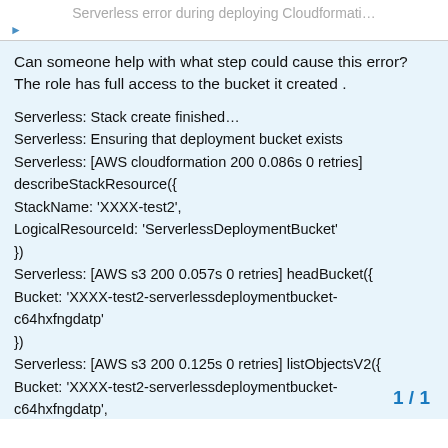Serverless error during deploying Cloudformati…
Can someone help with what step could cause this error? The role has full access to the bucket it created .
Serverless: Stack create finished…
Serverless: Ensuring that deployment bucket exists
Serverless: [AWS cloudformation 200 0.086s 0 retries] describeStackResource({
StackName: 'XXXX-test2',
LogicalResourceId: 'ServerlessDeploymentBucket'
})
Serverless: [AWS s3 200 0.057s 0 retries] headBucket({
Bucket: 'XXXX-test2-serverlessdeploymentbucket-c64hxfngdatp'
})
Serverless: [AWS s3 200 0.125s 0 retries] listObjectsV2({
Bucket: 'XXXX-test2-serverlessdeploymentbucket-c64hxfngdatp',
Prefix: 'serverless/XXXX/test2'
})
1 / 1